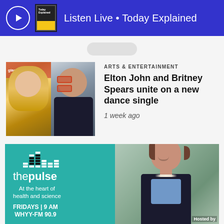Listen Live • Today Explained
ARTS & ENTERTAINMENT
Elton John and Britney Spears unite on a new dance single
1 week ago
[Figure (infographic): The Pulse radio show promotional banner. Teal/turquoise background with equalizer bar logo, 'thepulse' text, tagline 'At the heart of health and science', schedule 'FRIDAYS | 9 AM WHYY-FM 90.9', and a photo of the host with 'Hosted by' label.]